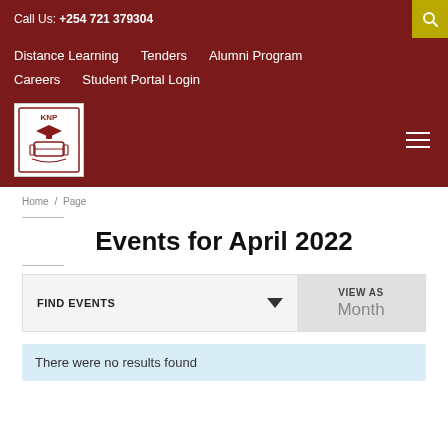Call Us: +254 721 379304
Distance Learning  Tenders  Alumni Program  Careers  Student Portal Login
[Figure (logo): KNP institution logo with graduation cap and scroll, white background]
Home / Page
Events for April 2022
FIND EVENTS
VIEW AS  Month
There were no results found